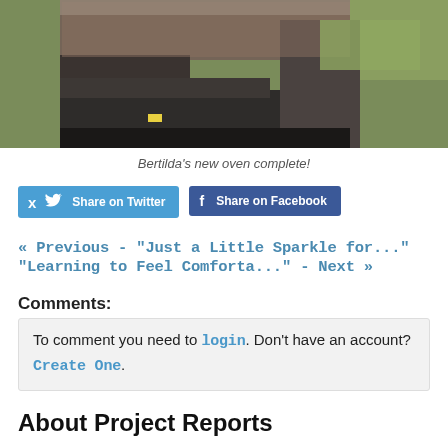[Figure (photo): Photo of Bertilda's new completed outdoor oven made of dark stone/cement blocks, with green grass visible in background]
Bertilda's new oven complete!
Share on Twitter | Share on Facebook (social share buttons)
« Previous - "Just a Little Sparkle for..." "Learning to Feel Comforta..." - Next »
Comments:
To comment you need to login. Don't have an account? Create One.
About Project Reports